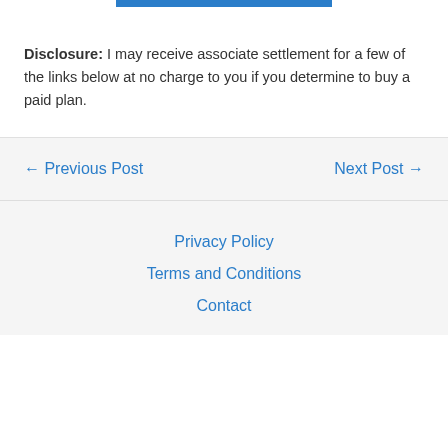Disclosure: I may receive associate settlement for a few of the links below at no charge to you if you determine to buy a paid plan.
← Previous Post
Next Post →
Privacy Policy
Terms and Conditions
Contact